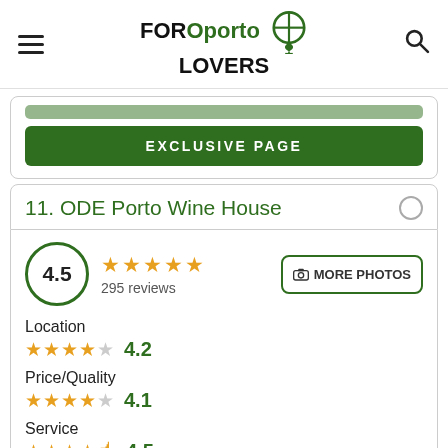FORoporto LOVERS
[Figure (logo): FORoporto LOVERS logo with green location pin icon]
EXCLUSIVE PAGE
11. ODE Porto Wine House
4.5 — 295 reviews
Location: 4 stars, 4.2
Price/Quality: 4 stars, 4.1
Service: 4.5 stars, 4.5